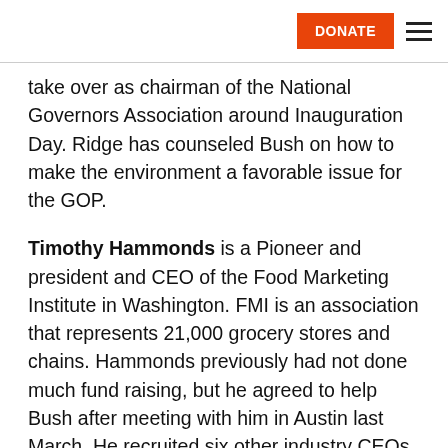DONATE
take over as chairman of the National Governors Association around Inauguration Day. Ridge has counseled Bush on how to make the environment a favorable issue for the GOP.
Timothy Hammonds is a Pioneer and president and CEO of the Food Marketing Institute in Washington. FMI is an association that represents 21,000 grocery stores and chains. Hammonds previously had not done much fund raising, but he agreed to help Bush after meeting with him in Austin last March. He recruited six other industry CEOs, who agreed to raise money for the